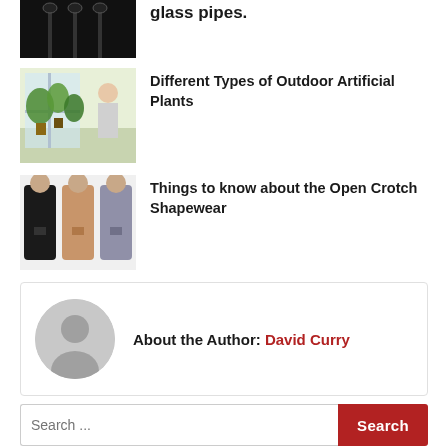[Figure (photo): Partial image of dark glass pipes at top of page]
glass pipes.
[Figure (photo): Photo of person with outdoor artificial plants near a window]
Different Types of Outdoor Artificial Plants
[Figure (photo): Three models wearing open crotch shapewear in black, nude, and grey]
Things to know about the Open Crotch Shapewear
About the Author: David Curry